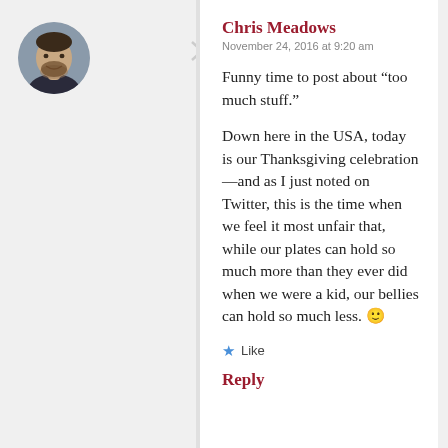[Figure (photo): Circular avatar photo of a man (Chris Meadows), bearded, wearing a suit jacket]
Chris Meadows
November 24, 2016 at 9:20 am
Funny time to post about “too much stuff.”
Down here in the USA, today is our Thanksgiving celebration—and as I just noted on Twitter, this is the time when we feel it most unfair that, while our plates can hold so much more than they ever did when we were a kid, our bellies can hold so much less. 🙂
★ Like
Reply